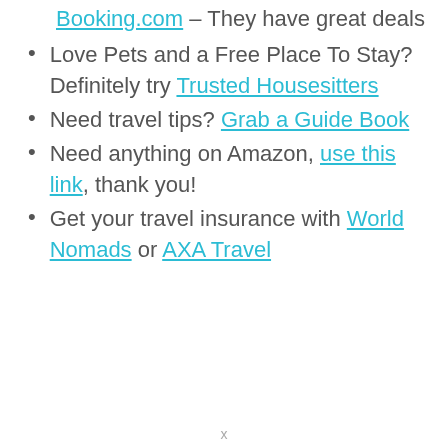Booking.com – They have great deals
Love Pets and a Free Place To Stay? Definitely try Trusted Housesitters
Need travel tips? Grab a Guide Book
Need anything on Amazon, use this link, thank you!
Get your travel insurance with World Nomads or AXA Travel
x